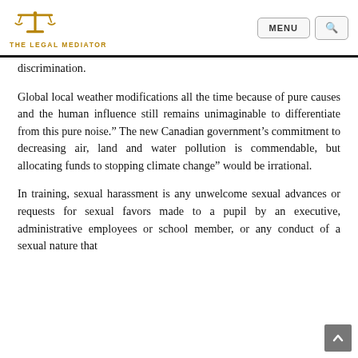THE LEGAL MEDIATOR | MENU | Search
discrimination.
Global local weather modifications all the time because of pure causes and the human influence still remains unimaginable to differentiate from this pure noise.” The new Canadian government’s commitment to decreasing air, land and water pollution is commendable, but allocating funds to stopping climate change” would be irrational.
In training, sexual harassment is any unwelcome sexual advances or requests for sexual favors made to a pupil by an executive, administrative employees or school member, or any conduct of a sexual nature that